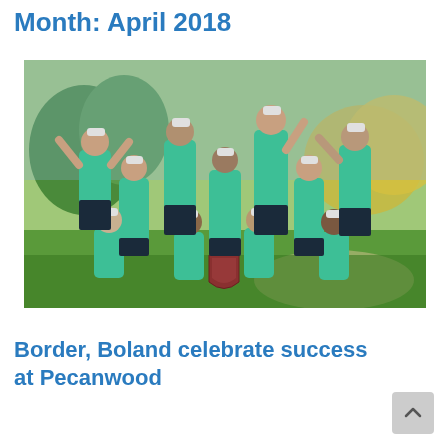Month: April 2018
[Figure (photo): A team of golfers in matching teal/mint polo shirts celebrating outdoors on a golf course, some standing and some sitting, holding a shield trophy. Trees and green fairways visible in background.]
Border, Boland celebrate success at Pecanwood